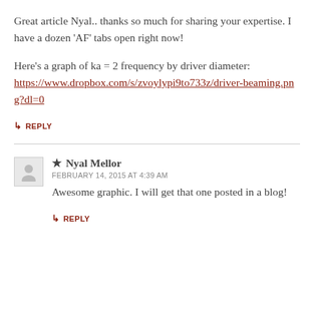Great article Nyal.. thanks so much for sharing your expertise. I have a dozen ‘AF’ tabs open right now!
Here’s a graph of ka = 2 frequency by driver diameter: https://www.dropbox.com/s/zvoylypi9to733z/driver-beaming.png?dl=0
↳ REPLY
★ Nyal Mellor
FEBRUARY 14, 2015 AT 4:39 AM
Awesome graphic. I will get that one posted in a blog!
↳ REPLY